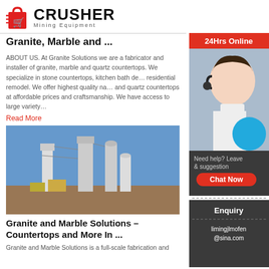[Figure (logo): Crusher Mining Equipment logo with red shopping cart icon and bold black CRUSHER text]
Granite, Marble and ...
ABOUT US. At Granite Solutions we are a fabricator and installer of granite, marble and quartz countertops. We specialize in stone countertops, kitchen bath de... residential remodel. We offer highest quality na... and quartz countertops at affordable prices and craftsmanship. We have access to large variety...
Read More
[Figure (photo): Industrial mining/crushing plant with large metal structures and silos against a blue sky]
Granite and Marble Solutions – Countertops and More In ...
Granite and Marble Solutions is a full-scale fabrication and
[Figure (photo): Sidebar advertisement: 24Hrs Online chat support with woman wearing headset, Chat Now button, Enquiry section, and limingjlmofen@sina.com email]